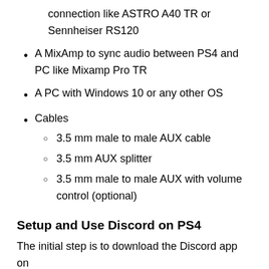connection like ASTRO A40 TR or Sennheiser RS120
A MixAmp to sync audio between PS4 and PC like Mixamp Pro TR
A PC with Windows 10 or any other OS
Cables
3.5 mm male to male AUX cable
3.5 mm AUX splitter
3.5 mm male to male AUX with volume control (optional)
Setup and Use Discord on PS4
The initial step is to download the Discord app on